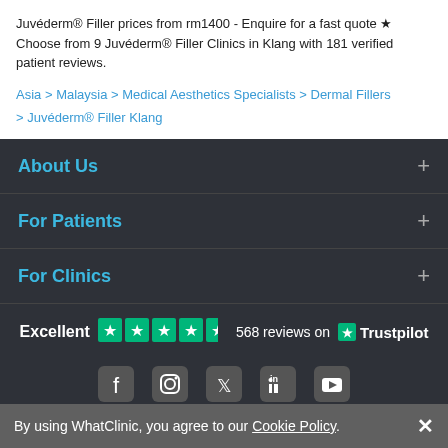Juvéderm® Filler prices from rm1400 - Enquire for a fast quote ★ Choose from 9 Juvéderm® Filler Clinics in Klang with 181 verified patient reviews.
Asia > Malaysia > Medical Aesthetics Specialists > Dermal Fillers > Juvéderm® Filler Klang
About Us
For Patients
For Clinics
[Figure (infographic): Trustpilot rating: Excellent, 5 green stars, 568 reviews on Trustpilot]
[Figure (infographic): Social media icons: Facebook, Instagram, Twitter, LinkedIn, YouTube]
WhatClinic Helpline +353 1 525 5101
© 2022 WhatClinic.com | Privacy Policy | Cookies Policy | Terms of Service
By using WhatClinic, you agree to our Cookie Policy.